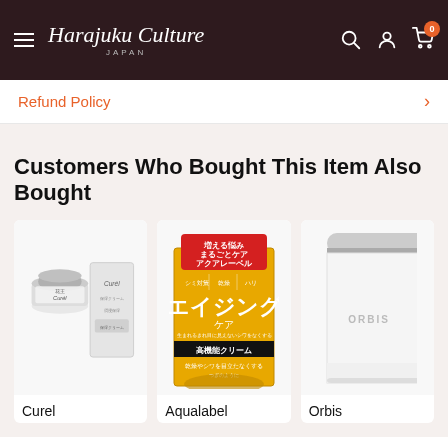Harajuku Culture JAPAN
Refund Policy
Customers Who Bought This Item Also Bought
[Figure (photo): Curel skincare cream product - jar and box packaging]
Curel
[Figure (photo): Aqualabel aging care multi-function cream - yellow and gold packaging with Japanese text]
Aqualabel
[Figure (photo): Orbis white cream product - white container partially visible]
Orbis